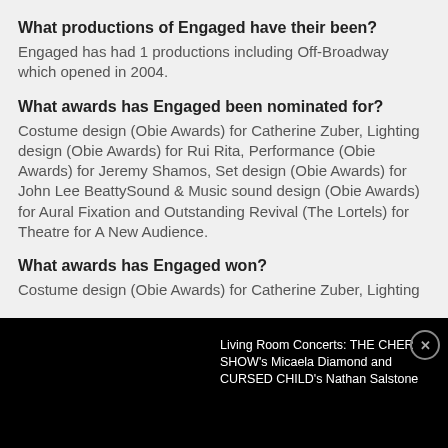What productions of Engaged have their been?
Engaged has had 1 productions including Off-Broadway which opened in 2004.
What awards has Engaged been nominated for?
Costume design (Obie Awards) for Catherine Zuber, Lighting design (Obie Awards) for Rui Rita, Performance (Obie Awards) for Jeremy Shamos, Set design (Obie Awards) for John Lee BeattySound & Music sound design (Obie Awards) for Aural Fixation and Outstanding Revival (The Lortels) for Theatre for A New Audience.
What awards has Engaged won?
Costume design (Obie Awards) for Catherine Zuber, Lighting
Living Room Concerts: THE CHER SHOW's Micaela Diamond and CURSED CHILD's Nathan Salstone